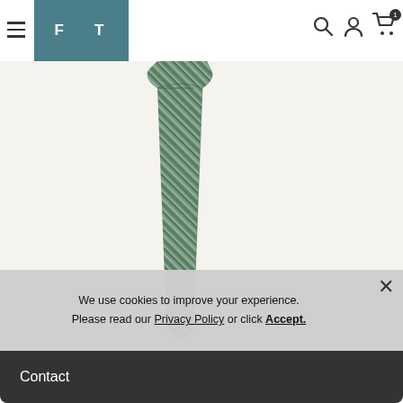FT (logo) — navigation bar with hamburger menu, search, user, and cart icons
[Figure (photo): A green striped necktie displayed against an off-white/cream background. The tie features diagonal stripes in multiple shades of green and hangs vertically with the knot visible at the top.]
We use cookies to improve your experience. Please read our Privacy Policy or click Accept.
Contact